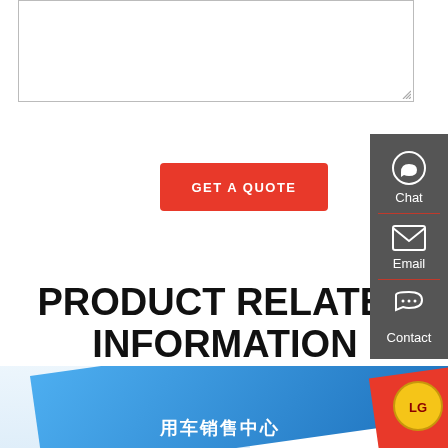[Figure (screenshot): Empty text input/textarea box with border and resize handle at bottom-right corner]
[Figure (screenshot): Red GET A QUOTE button]
PRODUCT RELATED INFORMATION
[Figure (infographic): Dark grey sidebar panel with Chat, Email, and Contact icons and labels, separated by red dividers]
[Figure (photo): Bottom strip showing a blue diagonal banner with Chinese text and a red section with a logo on the right, against a light sky background]